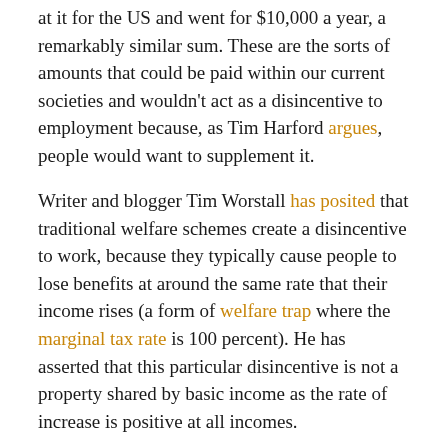at it for the US and went for $10,000 a year, a remarkably similar sum. These are the sorts of amounts that could be paid within our current societies and wouldn't act as a disincentive to employment because, as Tim Harford argues, people would want to supplement it.
Writer and blogger Tim Worstall has posited that traditional welfare schemes create a disincentive to work, because they typically cause people to lose benefits at around the same rate that their income rises (a form of welfare trap where the marginal tax rate is 100 percent). He has asserted that this particular disincentive is not a property shared by basic income as the rate of increase is positive at all incomes.
Money-saving
In an era when intelligent machines will soon replace human workers in all sectors of the economy, the hope is that a UBI scheme will prevent the government having to spend extra money on the vast array of related services connected to the bureaucratic elements of the state that are dependent on the